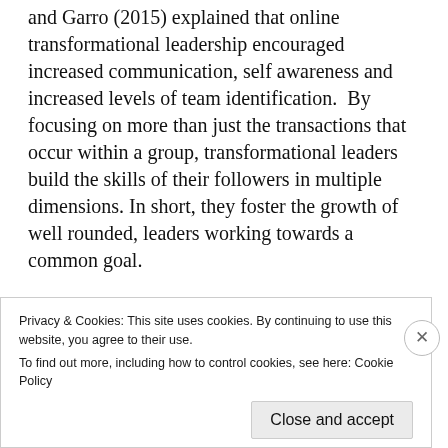and Garro (2015) explained that online transformational leadership encouraged increased communication, self awareness and increased levels of team identification.  By focusing on more than just the transactions that occur within a group, transformational leaders build the skills of their followers in multiple dimensions. In short, they foster the growth of well rounded, leaders working towards a common goal.
[Figure (other): A dashed separator line, an Apply button, and a circular photo of a man thinking with his hand on his chin]
Privacy & Cookies: This site uses cookies. By continuing to use this website, you agree to their use.
To find out more, including how to control cookies, see here: Cookie Policy
Close and accept